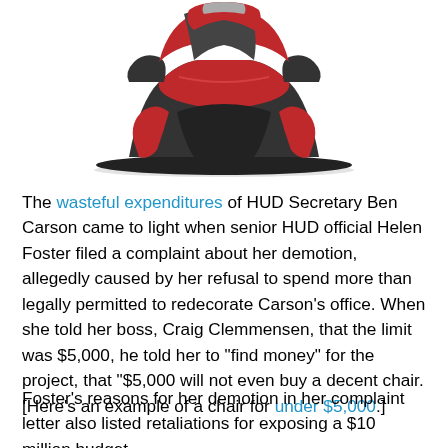[Figure (photo): Photo of a red and dark gray/black massage chair or luxury recliner chair, shown from a front-side angle on a white background.]
The wasteful expenditures of HUD Secretary Ben Carson came to light when senior HUD official Helen Foster filed a complaint about her demotion, allegedly caused by her refusal to spend more than legally permitted to redecorate Carson’s office. When she told her boss, Craig Clemmensen, that the limit was $5,000, he told her to “find money” for the project, that “$5,000 will not even buy a decent chair. [Here’s an example of a chair for under $5,000.]
Foster’s reasons for her demotion in her complaint letter also listed retaliations for exposing a $10 million budget